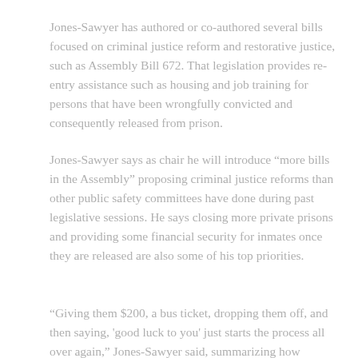Jones-Sawyer has authored or co-authored several bills focused on criminal justice reform and restorative justice, such as Assembly Bill 672. That legislation provides re-entry assistance such as housing and job training for persons that have been wrongfully convicted and consequently released from prison.
Jones-Sawyer says as chair he will introduce “more bills in the Assembly” proposing criminal justice reforms than other public safety committees have done during past legislative sessions. He says closing more private prisons and providing some financial security for inmates once they are released are also some of his top priorities.
“Giving them $200, a bus ticket, dropping them off, and then saying, 'good luck to you' just starts the process all over again,” Jones-Sawyer said, summarizing how